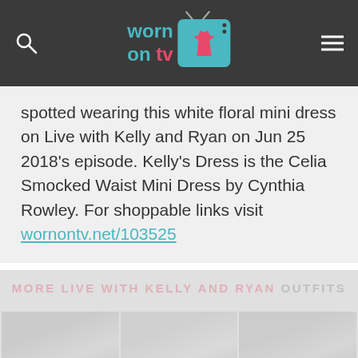worn on tv [logo with TV icon]
spotted wearing this white floral mini dress on Live with Kelly and Ryan on Jun 25 2018's episode. Kelly's Dress is the Celia Smocked Waist Mini Dress by Cynthia Rowley. For shoppable links visit wornontv.net/103525
MORE LIVE WITH KELLY AND RYAN OUTFITS
[Figure (photo): Three faded thumbnail images of TV outfits in a row]